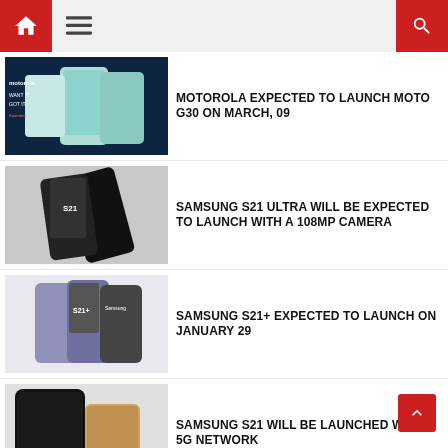Home / Menu / Search
MOTOROLA EXPECTED TO LAUNCH MOTO G30 ON MARCH, 09
[Figure (photo): Motorola Moto G30 phones advertisement showing multiple phone colors]
SAMSUNG S21 ULTRA WILL BE EXPECTED TO LAUNCH WITH A 108MP CAMERA
[Figure (photo): Samsung S21 phones shown from back at an angle]
SAMSUNG S21+ EXPECTED TO LAUNCH ON JANUARY 29
[Figure (photo): Samsung S21+ phones in purple/black shown with boxes]
SAMSUNG S21 WILL BE LAUNCHED WITH A 5G NETWORK
[Figure (photo): Samsung S21 phone with gold/silver color variant shown from back]